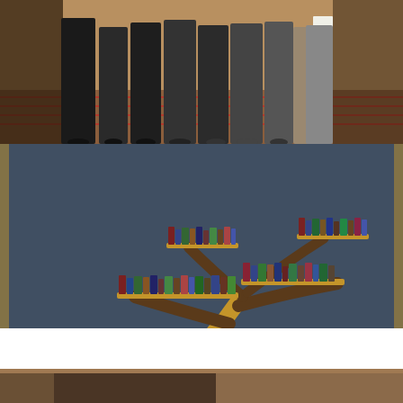[Figure (photo): Group of people standing together at an event, photographed from the waist down in a formal/indoor setting with a patterned carpet floor.]
[Figure (photo): Tree-shaped bookshelf filled with books against a dark chalkboard background. A semi-transparent black overlay box contains white text.]
Join us for an event and earn CECs
[Figure (photo): Partial bottom photo, partially visible, appears to show a table or desk setting.]